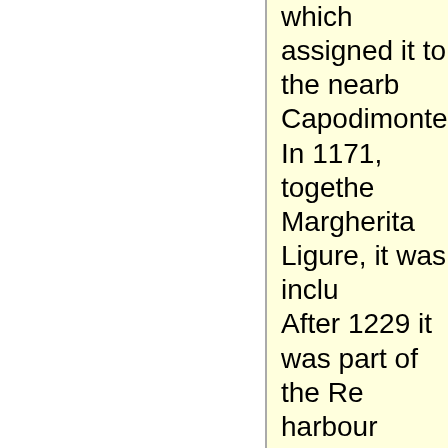which assigned it to the nearby Capodimonte. In 1171, together Margherita Ligure, it was inclu After 1229 it was part of the Re harbour supported a fleet of fis cramped to provide more than growing merchant marine of th
In 1409 Portofino was sold to f of France, but when the latter gave it back. In the 15th centu Fieschi, Spinola, Adorno and D
In 1815 it became part of the K of the unified Kingdom of Italy.